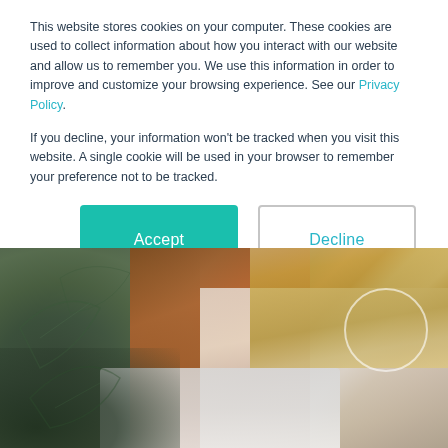This website stores cookies on your computer. These cookies are used to collect information about how you interact with our website and allow us to remember you. We use this information in order to improve and customize your browsing experience. See our Privacy Policy.
If you decline, your information won't be tracked when you visit this website. A single cookie will be used in your browser to remember your preference not to be tracked.
[Figure (other): Two buttons: a teal/green 'Accept' button and a white 'Decline' button with teal border]
[Figure (photo): Photo of a woman with blonde hair wearing a rust/orange jacket and white top, sitting with a laptop, with large green tropical leaves on the left side]